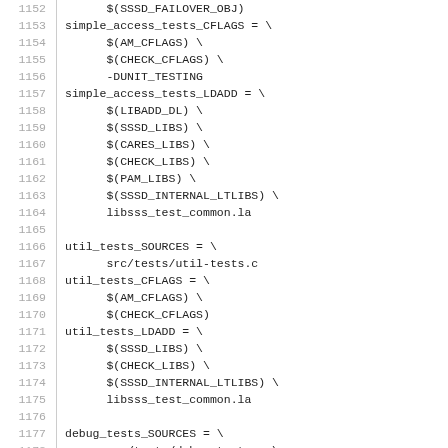Code listing lines 1152-1181 of a Makefile/build script showing variable definitions for simple_access_tests, util_tests, and debug_tests including SOURCES, CFLAGS, and LDADD variables with their respective flags and libraries.